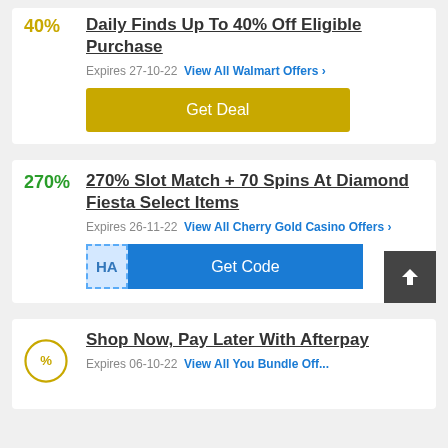Daily Finds Up To 40% Off Eligible Purchase
40%
Expires 27-10-22  View All Walmart Offers >
Get Deal
270% Slot Match + 70 Spins At Diamond Fiesta Select Items
270%
Expires 26-11-22  View All Cherry Gold Casino Offers >
HA  Get Code
Shop Now, Pay Later With Afterpay
Expires 06-10-22  View All You Bundle Off...